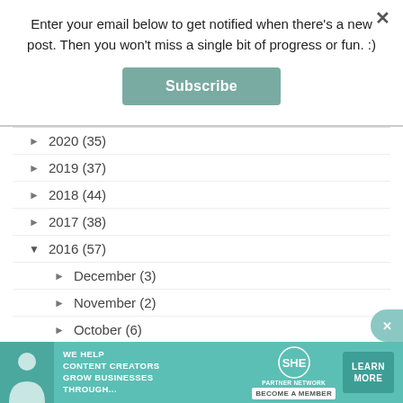Enter your email below to get notified when there's a new post. Then you won't miss a single bit of progress or fun. :)
Subscribe
► 2020 (35)
► 2019 (37)
► 2018 (44)
► 2017 (38)
▼ 2016 (57)
► December (3)
► November (2)
► October (6)
► September (4)
[Figure (infographic): Advertisement banner: WE HELP CONTENT CREATORS GROW BUSINESSES THROUGH... SHE PARTNER NETWORK BECOME A MEMBER — LEARN MORE button]